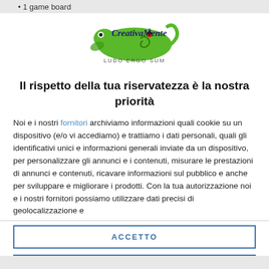1 game board
[Figure (logo): CreativaMente logo with green chameleon graphic and text 'LUDO ERGO SUM']
Il rispetto della tua riservatezza è la nostra priorità
Noi e i nostri fornitori archiviamo informazioni quali cookie su un dispositivo (e/o vi accediamo) e trattiamo i dati personali, quali gli identificativi unici e informazioni generali inviate da un dispositivo, per personalizzare gli annunci e i contenuti, misurare le prestazioni di annunci e contenuti, ricavare informazioni sul pubblico e anche per sviluppare e migliorare i prodotti. Con la tua autorizzazione noi e i nostri fornitori possiamo utilizzare dati precisi di geolocalizzazione e
ACCETTO
PIÙ OPZIONI